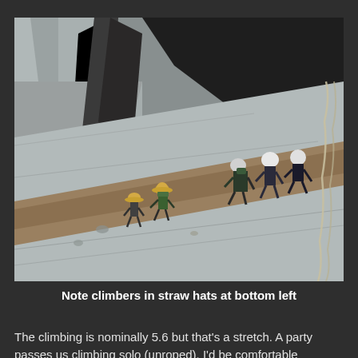[Figure (photo): Photograph of rock climbers ascending a steep granite rock face. Several climbers are visible, some wearing white helmets and one wearing a green jacket and straw hat. A rope is visible on the right side. The rock face shows diagonal striations and dark shadowed sections in the background.]
Note climbers in straw hats at bottom left
The climbing is nominally 5.6 but that's a stretch. A party passes us climbing solo (unroped). I'd be comfortable